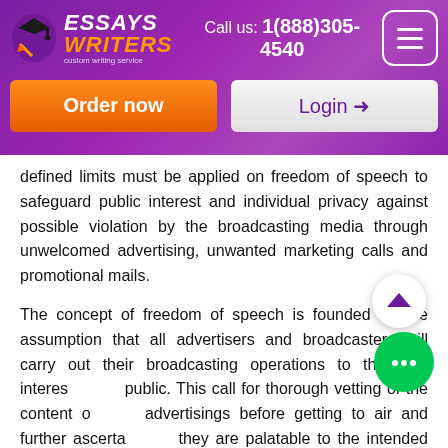[Figure (logo): Essays Writers custom writing service logo with orange and white text on purple background]
Call us: 1(888)305-4540
Order now
Login
defined limits must be applied on freedom of speech to safeguard public interest and individual privacy against possible violation by the broadcasting media through unwelcomed advertising, unwanted marketing calls and promotional mails.
The concept of freedom of speech is founded on the assumption that all advertisers and broadcasters will carry out their broadcasting operations to the best interest of the public. This call for thorough vetting of the content of their advertisings before getting to air and further ascertain that they are palatable to the intended audience. Nonetheless, broadcasters often violate privacy of individuals. Secondly,